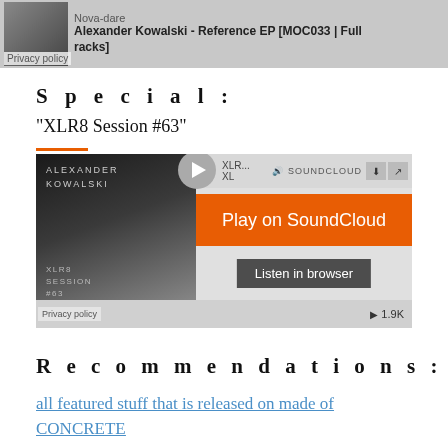[Figure (screenshot): SoundCloud embed thumbnail banner showing Alexander Kowalski - Reference EP [MOC033 | Full Tracks] with a dark album art thumbnail and privacy policy label]
Special:
“XLR8 Session #63”
[Figure (screenshot): SoundCloud embedded player for XLR8 Session #63 by Alexander Kowalski, showing Play on SoundCloud orange button, Listen in browser button, play count 1.9K, and Privacy policy label]
Recommendations:
all featured stuff that is released on made of CONCRETE